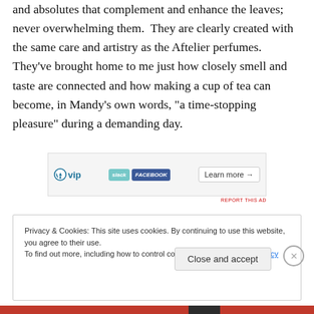and absolutes that complement and enhance the leaves; never overwhelming them.  They are clearly created with the same care and artistry as the Aftelier perfumes.  They've brought home to me just how closely smell and taste are connected and how making a cup of tea can become, in Mandy's own words, “a time-stopping pleasure” during a demanding day.
[Figure (screenshot): WordPress VIP advertisement banner with WordPress logo, slack and Facebook tags, and a 'Learn more' button]
REPORT THIS AD
Privacy & Cookies: This site uses cookies. By continuing to use this website, you agree to their use.
To find out more, including how to control cookies, see here: Cookie Policy
Close and accept